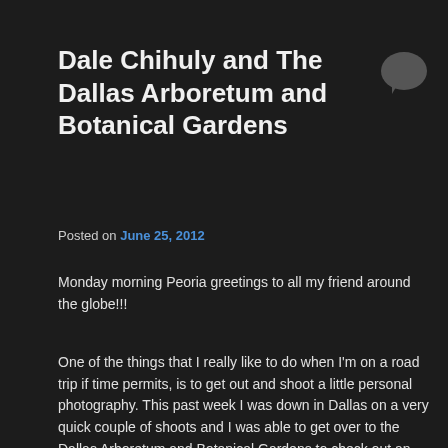Dale Chihuly and The Dallas Arboretum and Botanical Gardens
[Figure (illustration): Speech bubble / comment icon in dark gray]
Posted on June 25, 2012
Monday morning Peoria greetings to all my friend around the globe!!!
One of the things that I really like to do when I'm on a road trip if time permits, is to get out and shoot a little personal photography. This past week I was down in Dallas on a very quick couple of shoots and I was able to get over to the Dallas Arboretum and Botanical Gardens to check out an exhibit from Dale Chihuly. You might know his glass art work more by the name Chihuly. They really did a very nice job of setting up his artwork around the different areas of the gardens, so everything wasn't just in one place! If you're going to be in the Dallas area in the